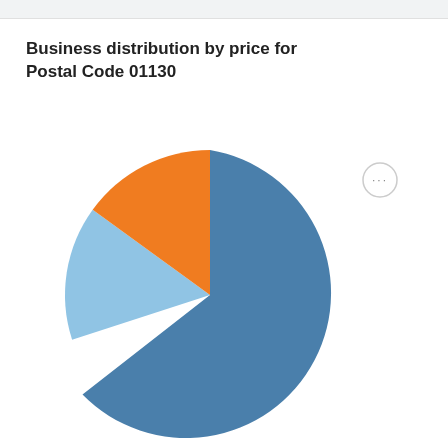Business distribution by price for Postal Code 01130
[Figure (pie-chart): Business distribution by price for Postal Code 01130]